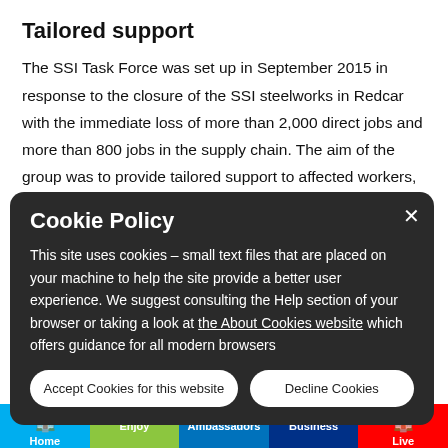Tailored support
The SSI Task Force was set up in September 2015 in response to the closure of the SSI steelworks in Redcar with the immediate loss of more than 2,000 direct jobs and more than 800 jobs in the supply chain. The aim of the group was to provide tailored support to affected workers, local businesses, communities and the wider economy.
Since September 2015, tailored programmes have been developed to help people find employment or re-train for suitable apprenticeships, start new businesses and train for suitable employment.
Cookie Policy
This site uses cookies – small text files that are placed on your machine to help the site provide a better user experience. We suggest consulting the Help section of your browser or taking a look at the About Cookies website which offers guidance for all modern browsers
Home | Enjoy | Ambassadors | Business | Live